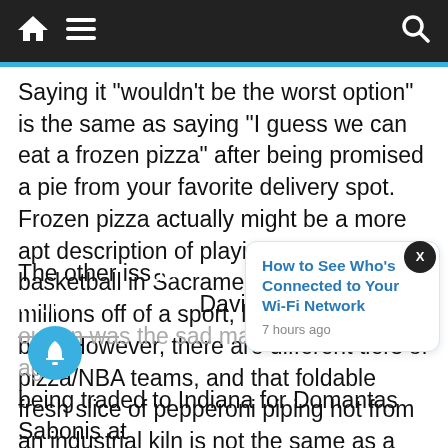Navigation bar with home, menu, and search icons
Saying it “wouldn’t be the worst option” is the same as saying “I guess we can eat a frozen pizza” after being promised a pie from your favorite delivery spot. Frozen pizza actually might be a more apt description of playing NBA basketball in Sacramento. Making millions off of a sport, like pizza, is never bad. However, there are different tiers of pizza/NBA teams, and that foldable fresh slice of pepperoni piping hot from an industrial kiln is not the same as a Totino’s Party Pizza from the toaster oven in the break room.
[Figure (screenshot): Popup notification card reading 'How to See Who's Connected to Your Wi-Fi Network' with timestamp '7 hours ago', with a close X button]
The other iss Davion M urton was the sad man out a season ago, being traded to Indiana for Domantas Sabonis at